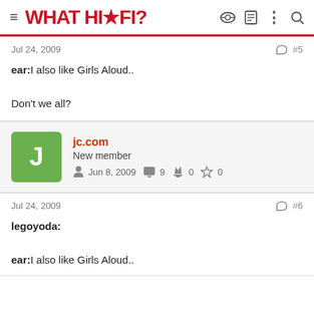WHAT HI·FI?
Jul 24, 2009  #5
ear:I also like Girls Aloud..

Don't we all?
jc.com
New member
Jun 8, 2009  9  0  0
Jul 24, 2009  #6
legoyoda:

ear:I also like Girls Aloud..